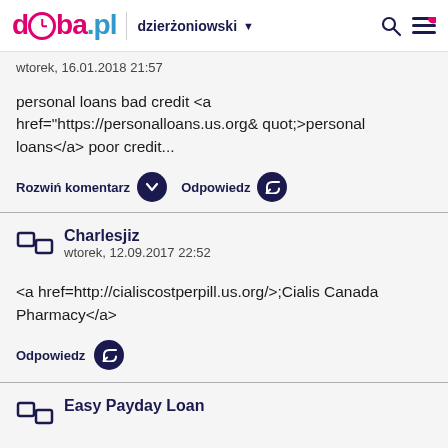doba.pl dzierżoniowski
wtorek, 16.01.2018 21:57
personal loans bad credit <a href="https://personalloans.us.org&quot;>personal loans</a> poor credit...
Rozwiń komentarz   Odpowiedz
Charlesjiz
wtorek, 12.09.2017 22:52
<a href=http://cialiscostperpill.us.org/>;Cialis Canada Pharmacy</a>
Odpowiedz
Easy Payday Loan